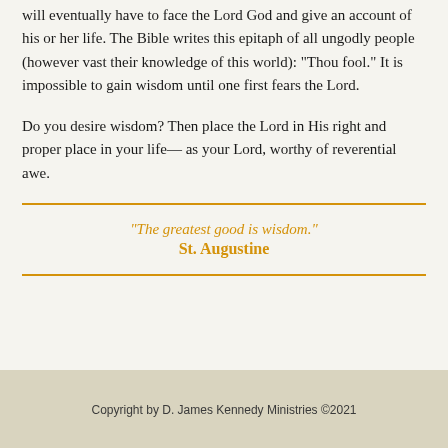will eventually have to face the Lord God and give an account of his or her life. The Bible writes this epitaph of all ungodly people (however vast their knowledge of this world): “Thou fool.” It is impossible to gain wisdom until one first fears the Lord.
Do you desire wisdom? Then place the Lord in His right and proper place in your life— as your Lord, worthy of reverential awe.
“The greatest good is wisdom.”
St. Augustine
Copyright by D. James Kennedy Ministries ©2021